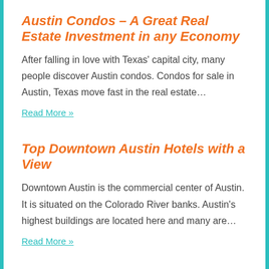Austin Condos – A Great Real Estate Investment in any Economy
After falling in love with Texas' capital city, many people discover Austin condos. Condos for sale in Austin, Texas move fast in the real estate…
Read More »
Top Downtown Austin Hotels with a View
Downtown Austin is the commercial center of Austin. It is situated on the Colorado River banks. Austin's highest buildings are located here and many are…
Read More »